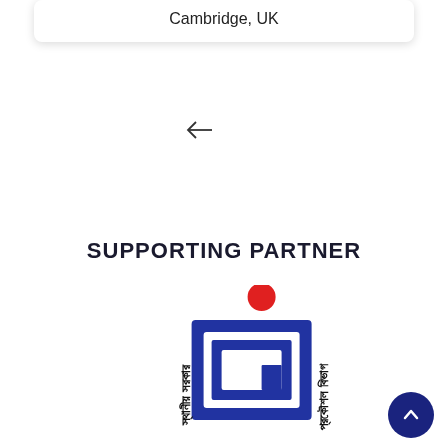Cambridge, UK
[Figure (other): Left arrow navigation icon]
SUPPORTING PARTNER
[Figure (logo): IGI logo with Bengali script text on sides, red dot above, blue geometric letters IGI in center]
[Figure (other): Dark blue circular scroll-to-top button with upward chevron arrow]